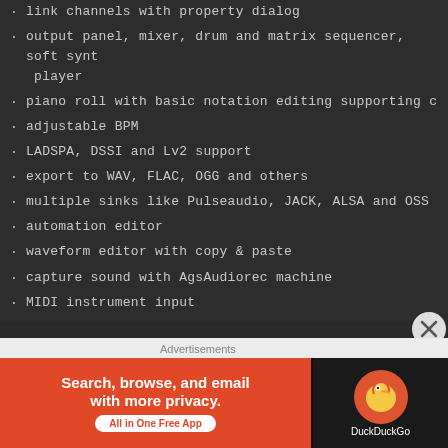link channels with property dialog
output panel, mixer, drum and matrix sequencer, soft synth player
piano roll with basic notation editing supporting copy &
adjustable BPM
LADSPA, DSSI and Lv2 support
export to WAV, FLAC, OGG and others
multiple sinks like Pulseaudio, JACK, ALSA and OSS
automation editor
waveform editor with copy & paste
capture sound with AgsAudiorec machine
MIDI instrument input
import/export to Standard MIDI Files
OSC content format support
OSC server for remote control and monitoring
Advertisements
[Figure (infographic): DuckDuckGo advertisement banner: 'Search, browse, and email with more privacy. All in One Free App' with DuckDuckGo logo on dark background.]